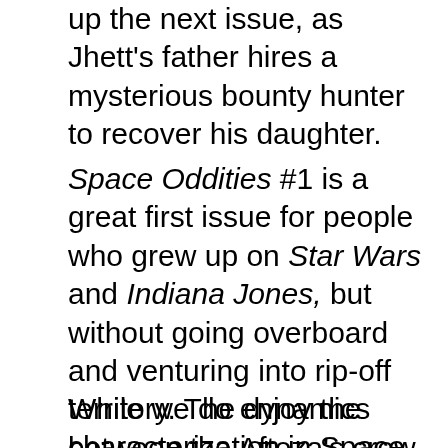up the next issue, as Jhett's father hires a mysterious bounty hunter to recover his daughter.
Space Oddities #1 is a great first issue for people who grew up on Star Wars and Indiana Jones, but without going overboard and venturing into rip-off territory. The dynamics between the Aftoza's crew and the peripheral cast will feel familiar and comfortable.
While we do enjoy the characterization in Space Oddity, it has its flaws. The story relies on a hefty dose of jargon, which is understandable given the setting and the fact that it is the first issue – the reader has not learned the lingo as yet. But it